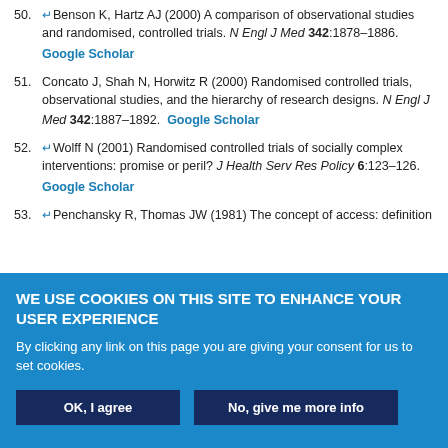50. Benson K, Hartz AJ (2000) A comparison of observational studies and randomised, controlled trials. N Engl J Med 342:1878–1886. Google Scholar
51. Concato J, Shah N, Horwitz R (2000) Randomised controlled trials, observational studies, and the hierarchy of research designs. N Engl J Med 342:1887–1892. Google Scholar
52. Wolff N (2001) Randomised controlled trials of socially complex interventions: promise or peril? J Health Serv Res Policy 6:123–126. Google Scholar
53. Penchansky R, Thomas JW (1981) The concept of access: definition
WE USE COOKIES ON THIS SITE TO ENHANCE YOUR USER EXPERIENCE
By clicking any link on this page you are giving your consent for us to set cookies.